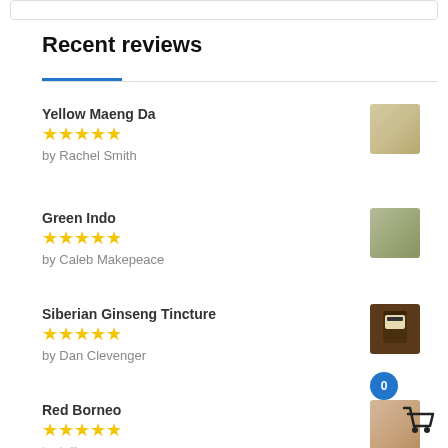Recent reviews
Yellow Maeng Da
★★★★★
by Rachel Smith
Green Indo
★★★★★
by Caleb Makepeace
Siberian Ginseng Tincture
★★★★★
by Dan Clevenger
Red Borneo
★★★★★
by jeffgoman